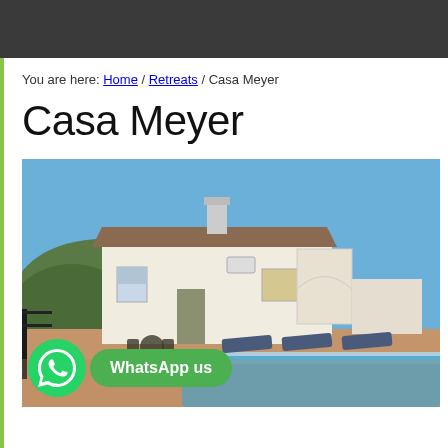You are here: Home / Retreats / Casa Meyer
Casa Meyer
[Figure (photo): White Spanish villa with terracotta tiled roof, chimney, arched gateway, lounge chairs and sun loungers on a tiled patio surrounding a swimming pool. Hills and clear blue sky in background.]